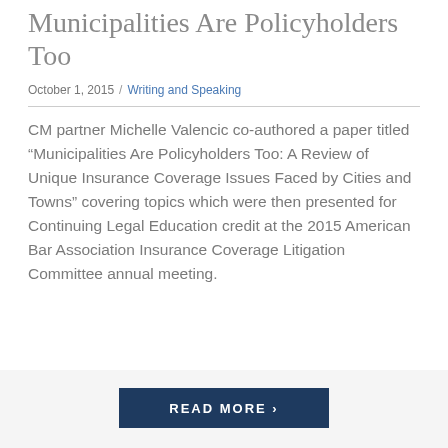Municipalities Are Policyholders Too
October 1, 2015 / Writing and Speaking
CM partner Michelle Valencic co-authored a paper titled “Municipalities Are Policyholders Too: A Review of Unique Insurance Coverage Issues Faced by Cities and Towns” covering topics which were then presented for Continuing Legal Education credit at the 2015 American Bar Association Insurance Coverage Litigation Committee annual meeting.
READ MORE ›